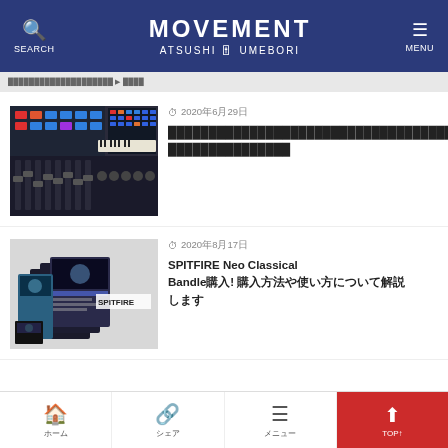SEARCH | MOVEMENT ATSUSHI UMEBORI | MENU
2020年6月29日
[Figure (photo): Photo of a music mixing console/synthesizer with colorful buttons and knobs]
2020年6月29日 — Japanese article title about music equipment
[Figure (photo): Spitfire Audio product bundle box art image with 'SPITFIRE' text visible]
2020年8月17日 — SPITFIRE Neo Classical Bandle購入! 購入方法や使い方について解説します
ホーム | シェア | メニュー | TOP↑